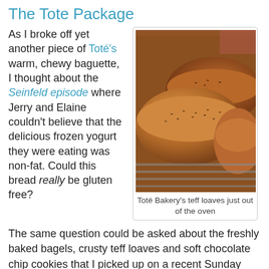The Tote Package
As I broke off yet another piece of Toté's warm, chewy baguette, I thought about the Seinfeld episode where Jerry and Elaine couldn't believe that the delicious frozen yogurt they were eating was non-fat. Could this bread really be gluten free?
[Figure (photo): Photo of Toté Bakery's teff loaves just out of the oven on a rack]
Toté Bakery's teff loaves just out of the oven
The same question could be asked about the freshly baked bagels, crusty teff loaves and soft chocolate chip cookies that I picked up on a recent Sunday morning at the South Philadelphia bakery (1024 S. 9th St., 215-551-5511). Toté is operated by Omer Taffet and Eugene Torsunov, who work the ovens six days a week in the heart of the Italian Market